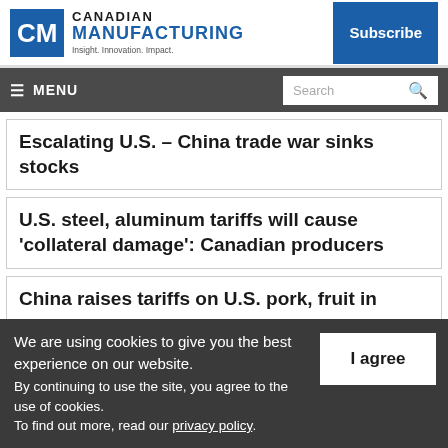Canadian Manufacturing — Insight. Innovation. Impact.
Escalating U.S. – China trade war sinks stocks
U.S. steel, aluminum tariffs will cause 'collateral damage': Canadian producers
China raises tariffs on U.S. pork, fruit in
We are using cookies to give you the best experience on our website. By continuing to use the site, you agree to the use of cookies. To find out more, read our privacy policy.